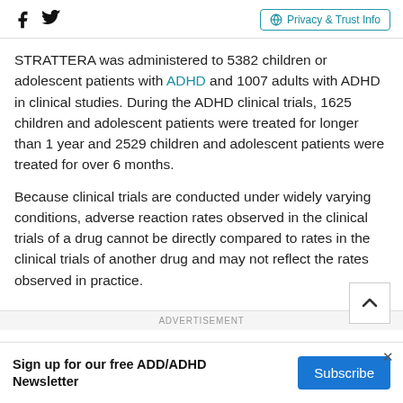Facebook | Twitter | Privacy & Trust Info
STRATTERA was administered to 5382 children or adolescent patients with ADHD and 1007 adults with ADHD in clinical studies. During the ADHD clinical trials, 1625 children and adolescent patients were treated for longer than 1 year and 2529 children and adolescent patients were treated for over 6 months.
Because clinical trials are conducted under widely varying conditions, adverse reaction rates observed in the clinical trials of a drug cannot be directly compared to rates in the clinical trials of another drug and may not reflect the rates observed in practice.
ADVERTISEMENT
Sign up for our free ADD/ADHD Newsletter Subscribe